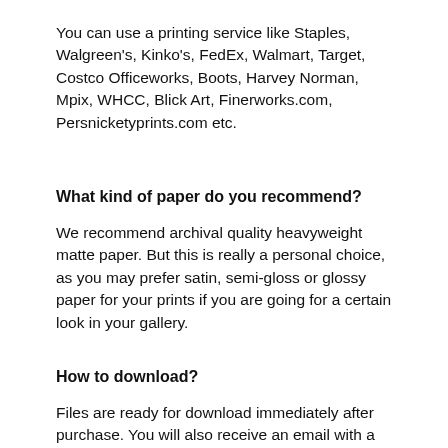You can use a printing service like Staples, Walgreen's, Kinko's, FedEx, Walmart, Target, Costco Officeworks, Boots, Harvey Norman, Mpix, WHCC, Blick Art, Finerworks.com, Persnicketyprints.com etc.
What kind of paper do you recommend?
We recommend archival quality heavyweight matte paper. But this is really a personal choice, as you may prefer satin, semi-gloss or glossy paper for your prints if you are going for a certain look in your gallery.
How to download?
Files are ready for download immediately after purchase. You will also receive an email with a download link